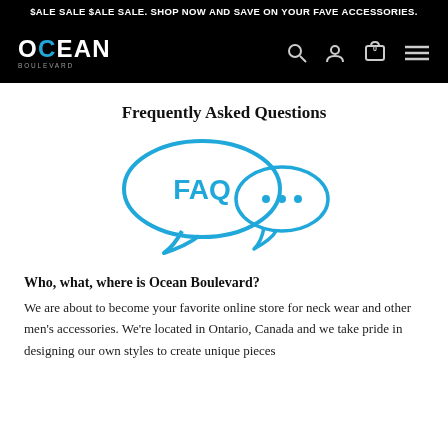$ALE SALE $ALE SALE. SHOP NOW AND SAVE ON YOUR FAVE ACCESSORIES.
[Figure (logo): Ocean Boulevard logo in white on black background with navigation icons (search, user, cart with 0, menu)]
Frequently Asked Questions
[Figure (illustration): Two speech bubbles in blue outline: left large bubble contains 'FAQ', right smaller bubble contains '...']
Who, what, where is Ocean Boulevard?
We are about to become your favorite online store for neck wear and other men's accessories. We're located in Ontario, Canada and we take pride in designing our own styles to create unique pieces